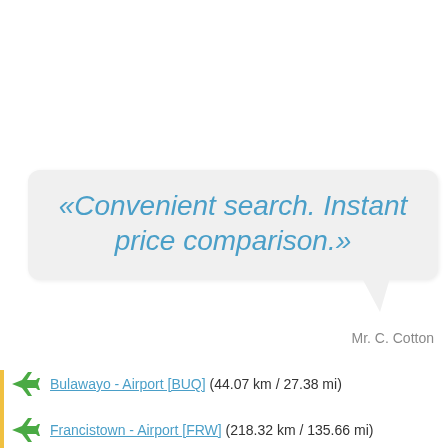«Convenient search. Instant price comparison.»
Mr. C. Cotton
Bulawayo - Airport [BUQ] (44.07 km / 27.38 mi)
Francistown - Airport [FRW] (218.32 km / 135.66 mi)
Harare - Airport [HRE] (307.13 km / 190.84 mi)